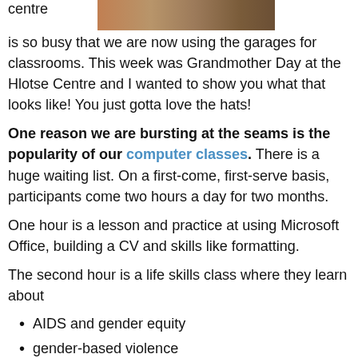[Figure (photo): Photo of people at the Hlotse Centre, partially visible at top of page]
centre is so busy that we are now using the garages for classrooms. This week was Grandmother Day at the Hlotse Centre and I wanted to show you what that looks like! You just gotta love the hats!
One reason we are bursting at the seams is the popularity of our computer classes. There is a huge waiting list. On a first-come, first-serve basis, participants come two hours a day for two months.
One hour is a lesson and practice at using Microsoft Office, building a CV and skills like formatting.
The second hour is a life skills class where they learn about
AIDS and gender equity
gender-based violence
conflict resolution